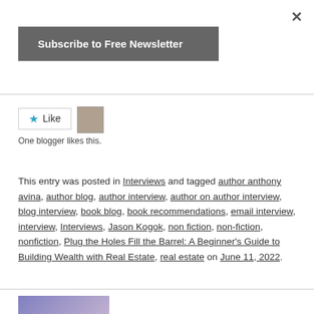×
Subscribe to Free Newsletter
Like  One blogger likes this.
This entry was posted in Interviews and tagged author anthony avina, author blog, author interview, author on author interview, blog interview, book blog, book recommendations, email interview, interview, Interviews, Jason Kogok, non fiction, non-fiction, nonfiction, Plug the Holes Fill the Barrel: A Beginner's Guide to Building Wealth with Real Estate, real estate on June 11, 2022.